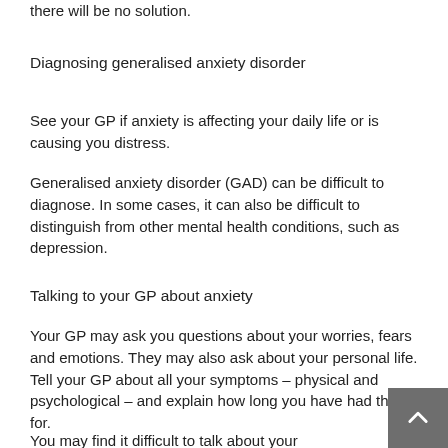there will be no solution.
Diagnosing generalised anxiety disorder
See your GP if anxiety is affecting your daily life or is causing you distress.
Generalised anxiety disorder (GAD) can be difficult to diagnose. In some cases, it can also be difficult to distinguish from other mental health conditions, such as depression.
Talking to your GP about anxiety
Your GP may ask you questions about your worries, fears and emotions. They may also ask about your personal life. Tell your GP about all your symptoms – physical and psychological – and explain how long you have had them for.
You may find it difficult to talk about your feelings, emotions and personal life. However, it is important that